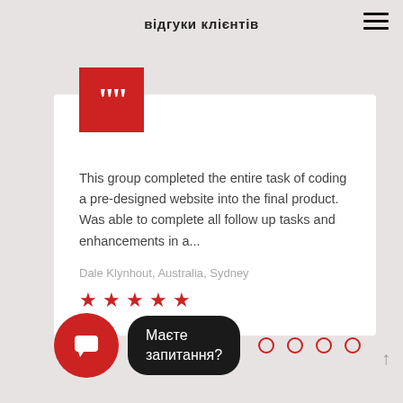відгуки клієнтів
[Figure (other): Red square with white double-quote icon]
This group completed the entire task of coding a pre-designed website into the final product. Was able to complete all follow up tasks and enhancements in a...
Dale Klynhout, Australia, Sydney
[Figure (other): Five red star rating]
[Figure (other): Red circle with chat/message icon]
Маєте запитання?
[Figure (other): Four empty red-outlined circle dots (carousel navigation)]